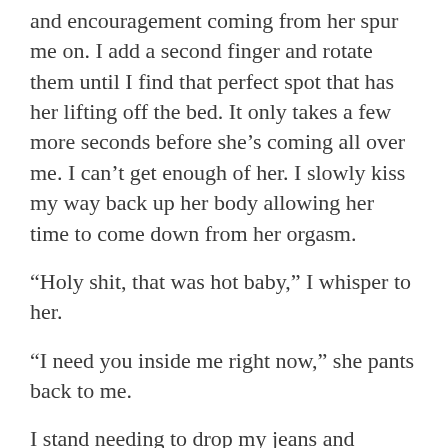and encouragement coming from her spur me on. I add a second finger and rotate them until I find that perfect spot that has her lifting off the bed. It only takes a few more seconds before she’s coming all over me. I can’t get enough of her. I slowly kiss my way back up her body allowing her time to come down from her orgasm.
“Holy shit, that was hot baby,” I whisper to her.
“I need you inside me right now,” she pants back to me.
I stand needing to drop my jeans and remove my prosthetic as well as grab a condom from my nightstand. Sex with my prosthetic on is uncomfortable. It just gets in my way. I have never been insecure about people seeing either my prosthetic or my leg without it on. It is just a part of who I am. I look down at her; beautiful, open, and ready for me. I give a couple tugs to my cock before sliding the condom down into place. I crawl back up her body sucking a nipple into my mouth as I make my way back up to take her lips